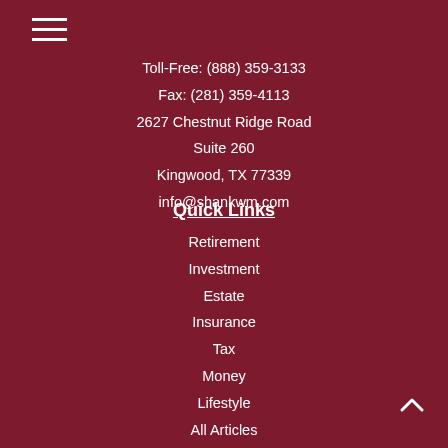[Figure (illustration): Hamburger menu icon with three horizontal white lines]
Toll-Free: (888) 359-3133
Fax: (281) 359-4113
2627 Chestnut Ridge Road
Suite 260
Kingwood, TX 77339
info@shankwm.com
Quick Links
Retirement
Investment
Estate
Insurance
Tax
Money
Lifestyle
All Articles
All Videos
All Calculators
All Presentations